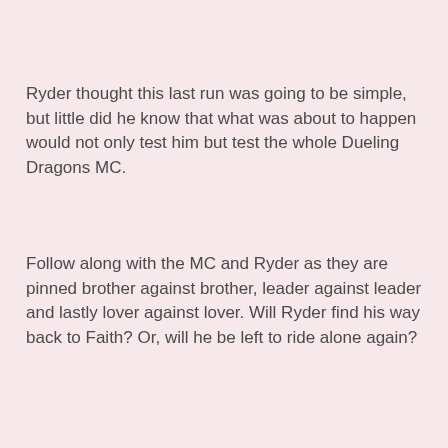Ryder thought this last run was going to be simple, but little did he know that what was about to happen would not only test him but test the whole Dueling Dragons MC.
Follow along with the MC and Ryder as they are pinned brother against brother, leader against leader and lastly lover against lover. Will Ryder find his way back to Faith? Or, will he be left to ride alone again?
[Figure (logo): + Add to goodreads button/widget]